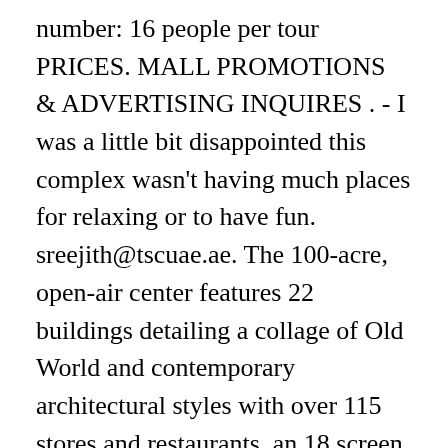number: 16 people per tour PRICES. MALL PROMOTIONS & ADVERTISING INQUIRES . - I was a little bit disappointed this complex wasn't having much places for relaxing or to have fun. sreejith@tscuae.ae. The 100-acre, open-air center features 22 buildings detailing a collage of Old World and contemporary architectural styles with over 115 stores and restaurants, an 18 screen movie theater and 252,000 sq. $14.66 per adult. Please check your branch's specific opening hours before travelling. August 26, 2020. Traveling south on Las Vegas Boulevard, turn right on Town Square Drive. Town Square Las Vegas in Las Vegas, Nevada offers 132 stores. Day of the Week Hours; Monday: 8:00